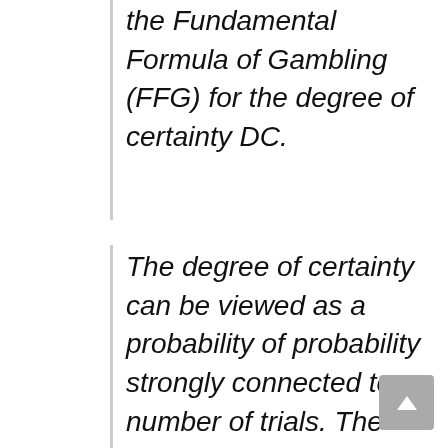the Fundamental Formula of Gambling (FFG) for the degree of certainty DC.
The degree of certainty can be viewed as a probability of probability strongly connected to a number of trials. The master formula that calculates the number of trials N for an event of probability p to appear with a degree of certainty DC is known as the Fundamental Formula of